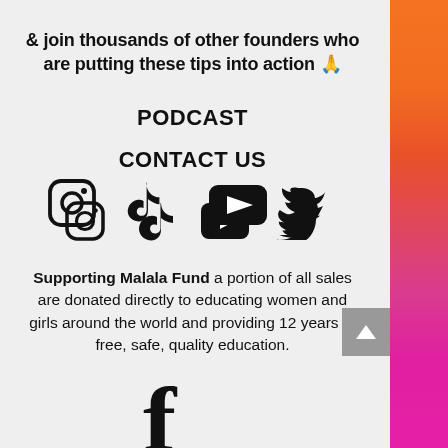& join thousands of other founders who are putting these tips into action 🙏
PODCAST
CONTACT US
[Figure (infographic): Social media icons: Instagram, TikTok, YouTube, Twitter]
Supporting Malala Fund a portion of all sales are donated directly to educating women and girls around the world and providing 12 years of free, safe, quality education.
[Figure (logo): Partial logo mark visible at bottom of page]